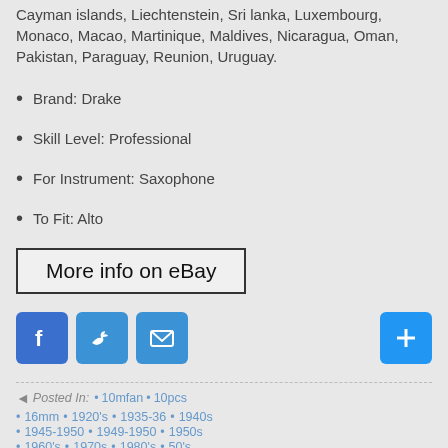Cayman islands, Liechtenstein, Sri lanka, Luxembourg, Monaco, Macao, Martinique, Maldives, Nicaragua, Oman, Pakistan, Paraguay, Reunion, Uruguay.
Brand: Drake
Skill Level: Professional
For Instrument: Saxophone
To Fit: Alto
[Figure (other): Button labeled 'More info on eBay' with a black border]
[Figure (other): Social sharing icons: Facebook (blue), Twitter (blue), Email (blue), and a blue plus button]
Posted In: • 10mfan • 10pcs
• 16mm • 1920's • 1935-36 • 1940s
• 1945-1950 • 1949-1950 • 1950s
• 1960's • 1970s • 1980's • 50's
• 640mm • 70's • aaron • absolutely